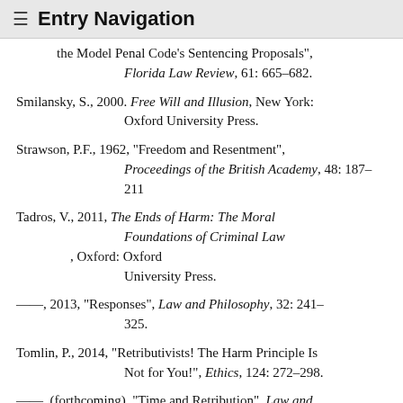≡ Entry Navigation
the Model Penal Code's Sentencing Proposals", Florida Law Review, 61: 665–682.
Smilansky, S., 2000. Free Will and Illusion, New York: Oxford University Press.
Strawson, P.F., 1962, "Freedom and Resentment", Proceedings of the British Academy, 48: 187–211
Tadros, V., 2011, The Ends of Harm: The Moral Foundations of Criminal Law, Oxford: Oxford University Press.
–––, 2013, "Responses", Law and Philosophy, 32: 241–325.
Tomlin, P., 2014, "Retributivists! The Harm Principle Is Not for You!", Ethics, 124: 272–298.
–––, (forthcoming), "Time and Retribution", Law and Philosophy.
Tonry, M. (ed.), 2011, Why Punish? How Much? A Reader on Punishment, New York: Oxford University Press.